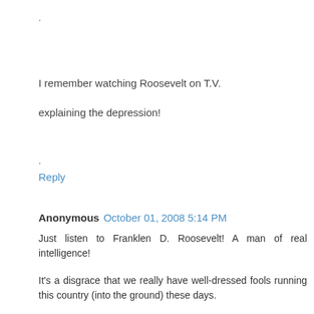.
I remember watching Roosevelt on T.V.
explaining the depression!
.
Reply
Anonymous October 01, 2008 5:14 PM
Just listen to Franklen D. Roosevelt! A man of real intelligence!
It's a disgrace that we really have well-dressed fools running this country (into the ground) these days.